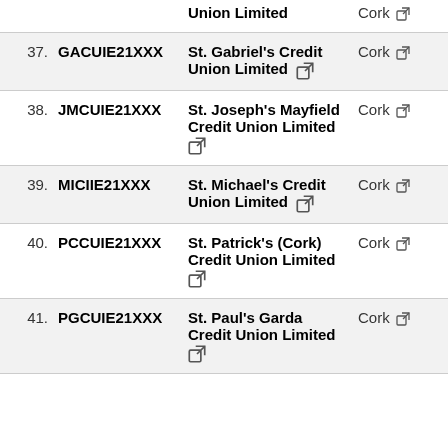| # | Code | Name | Location | Country |
| --- | --- | --- | --- | --- |
|  |  | South Credit Union Limited | Cork ↗ | 🇮🇪 |
| 37. | GACUIE21XXX | St. Gabriel's Credit Union Limited ↗ | Cork ↗ | 🇮🇪 |
| 38. | JMCUIE21XXX | St. Joseph's Mayfield Credit Union Limited ↗ | Cork ↗ | 🇮🇪 |
| 39. | MICIIE21XXX | St. Michael's Credit Union Limited ↗ | Cork ↗ | 🇮🇪 |
| 40. | PCCUIE21XXX | St. Patrick's (Cork) Credit Union Limited ↗ | Cork ↗ | 🇮🇪 |
| 41. | PGCUIE21XXX | St. Paul's Garda Credit Union Limited ↗ | Cork ↗ | 🇮🇪 |